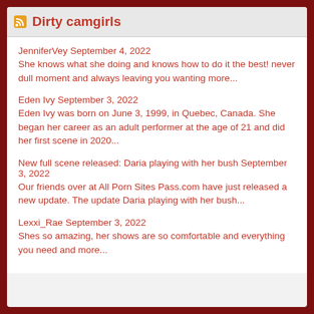Dirty camgirls
JenniferVey September 4, 2022
She knows what she doing and knows how to do it the best! never dull moment and always leaving you wanting more...
Eden Ivy September 3, 2022
Eden Ivy was born on June 3, 1999, in Quebec, Canada. She began her career as an adult performer at the age of 21 and did her first scene in 2020...
New full scene released: Daria playing with her bush September 3, 2022
Our friends over at All Porn Sites Pass.com have just released a new update. The update Daria playing with her bush...
Lexxi_Rae September 3, 2022
Shes so amazing, her shows are so comfortable and everything you need and more...